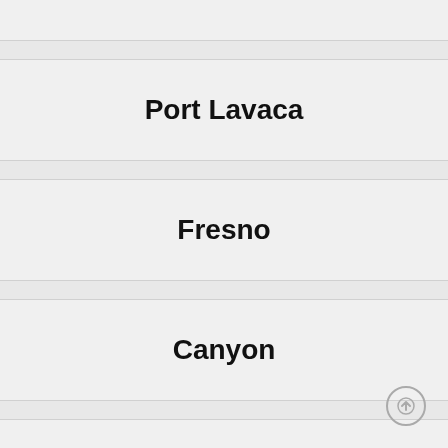Port Lavaca
Fresno
Canyon
Murphy